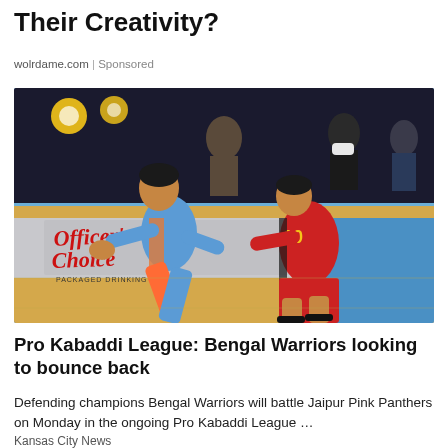Their Creativity?
wolrdame.com | Sponsored
[Figure (photo): Kabaddi match in action — a player in a blue and orange Bengal Warriors jersey lunges toward a player in a red Bengaluru Bulls jersey (number 10), with other players and officials visible in the background, and an 'Officer's Choice – Packaged Drinking Water' advertisement board visible.]
Pro Kabaddi League: Bengal Warriors looking to bounce back
Defending champions Bengal Warriors will battle Jaipur Pink Panthers on Monday in the ongoing Pro Kabaddi League …
Kansas City News